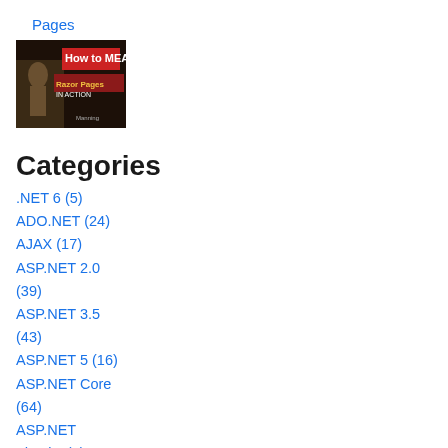Pages
[Figure (photo): Book cover: How to MEAP - Razor Pages in Action - Manning]
Categories
.NET 6 (5)
ADO.NET (24)
AJAX (17)
ASP.NET 2.0 (39)
ASP.NET 3.5 (43)
ASP.NET 5 (16)
ASP.NET Core (64)
ASP.NET Identity (3)
ASP.NET MVC (89)
ASP.NET Web Forms (31)